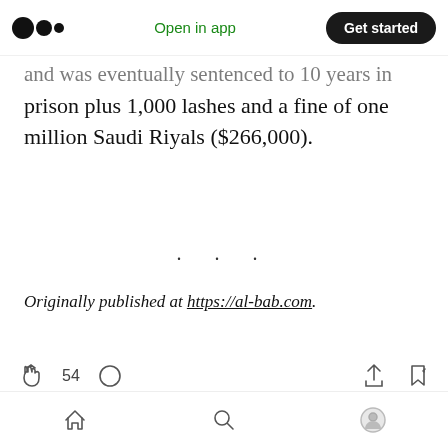Medium app navigation bar with logo, 'Open in app', and 'Get started' button
and was eventually sentenced to 10 years in prison plus 1,000 lashes and a fine of one million Saudi Riyals ($266,000).
· · ·
Originally published at https://al-bab.com.
Clap 54, Comment, Share, Save — Medium article action bar. Bottom navigation: Home, Search, Profile.